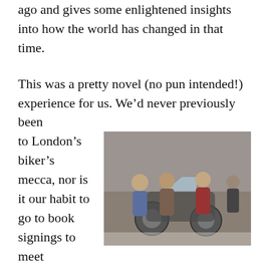ago and gives some enlightened insights into how the world has changed in that time.
This was a pretty novel (no pun intended!) experience for us. We'd never previously been to London's biker's mecca, nor is it our habit to go to book signings to meet celebrities. It was great. We got to meet the man who's gone round the world twice on a motorbike and have him sign a few copies of his book for us. When we discovered that Ewan McGregor was there too (Ewan's a self-confessed Ted fanatic) we took the
[Figure (photo): A group of people posing with a motorcycle inside what appears to be a shop or garage. Several people are visible, some wearing motorcycle gear.]